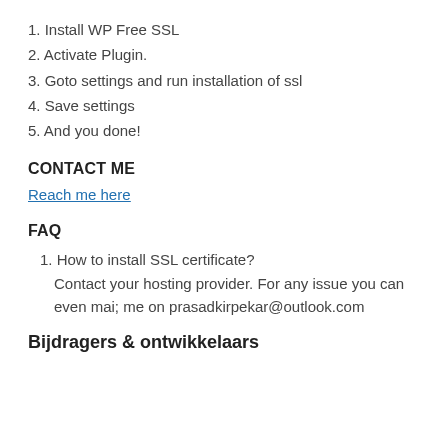1. Install WP Free SSL
2. Activate Plugin.
3. Goto settings and run installation of ssl
4. Save settings
5. And you done!
CONTACT ME
Reach me here
FAQ
1. How to install SSL certificate?
Contact your hosting provider. For any issue you can even mai; me on prasadkirpekar@outlook.com
Bijdragers & ontwikkelaars